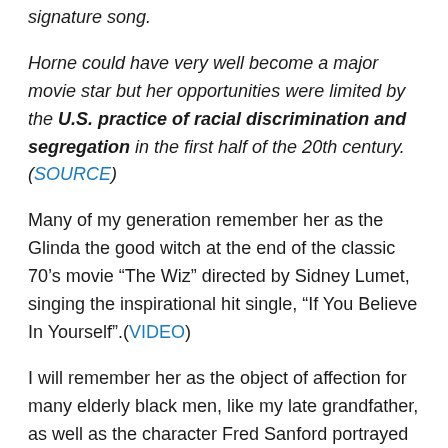signature song.
Horne could have very well become a major movie star but her opportunities were limited by the U.S. practice of racial discrimination and segregation in the first half of the 20th century.(SOURCE)
Many of my generation remember her as the Glinda the good witch at the end of the classic 70’s movie “The Wiz” directed by Sidney Lumet, singing the inspirational hit single, “If You Believe In Yourself”.(VIDEO)
I will remember her as the object of affection for many elderly black men, like my late grandfather, as well as the character Fred Sanford portrayed by legendary comedienne Redd Foxx.My grandfather reacted to Lena Horne, much like I react to the vivacious Halle Berry currently.